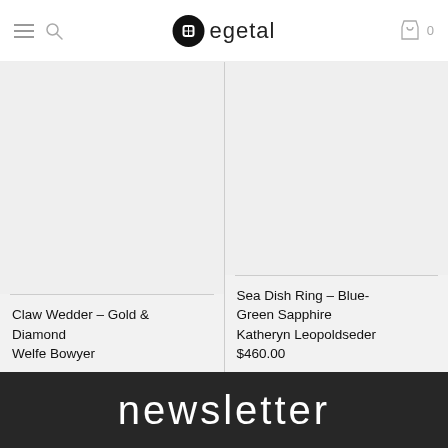egetal — navigation header with menu, search, logo, and cart (0 items)
[Figure (photo): Product image placeholder area for Claw Wedder – Gold & Diamond by Welfe Bowyer (light grey background, no image visible)]
Claw Wedder – Gold & Diamond
Welfe Bowyer
[Figure (photo): Product image placeholder area for Sea Dish Ring – Blue-Green Sapphire by Katheryn Leopoldseder (light grey background, no image visible)]
Sea Dish Ring – Blue-Green Sapphire
Katheryn Leopoldseder
$460.00
newsletter